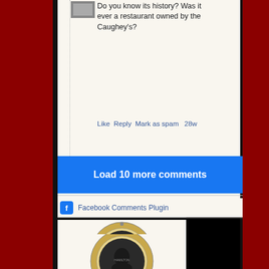Do you know its history? Was it ever a restaurant owned by the Caughey's?
Like  Reply  Mark as spam  28w
Load 10 more comments
Facebook Comments Plugin
[Figure (photo): Circular medallion coin with portrait of Abraham Lincoln in center, text around the rim reading ABRAHAM LINCOLN]
[Figure (photo): Circular medallion coin with portrait, partially visible, text around rim reading HAMILTON or similar]